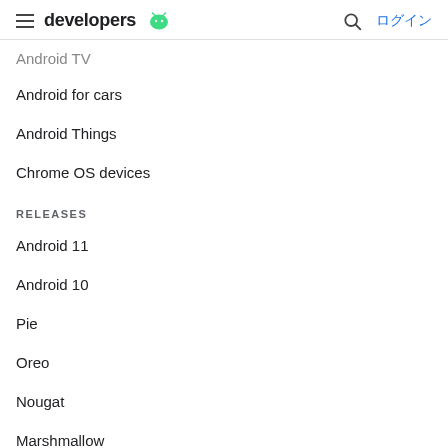developers  ログイン
Android TV
Android for cars
Android Things
Chrome OS devices
RELEASES
Android 11
Android 10
Pie
Oreo
Nougat
Marshmallow
Lollipop
KitKat